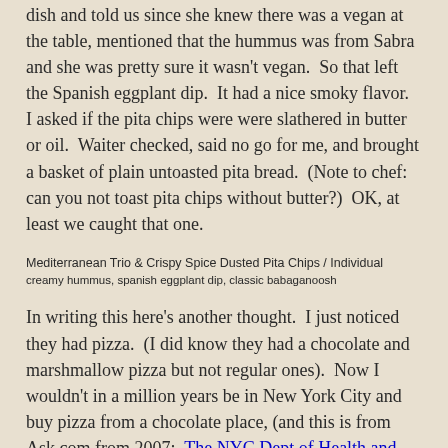dish and told us since she knew there was a vegan at the table, mentioned that the hummus was from Sabra and she was pretty sure it wasn't vegan.  So that left the Spanish eggplant dip.  It had a nice smoky flavor.  I asked if the pita chips were were slathered in butter or oil.  Waiter checked, said no go for me, and brought a basket of plain untoasted pita bread.  (Note to chef:  can you not toast pita chips without butter?)  OK, at least we caught that one.
Mediterranean Trio & Crispy Spice Dusted Pita Chips / Individual
creamy hummus, spanish eggplant dip, classic babaganoosh
In writing this here's another thought.  I just noticed they had pizza.  (I did know they had a chocolate and marshmallow pizza but not regular ones).  Now I wouldn't in a million years be in New York City and buy pizza from a chocolate place, (and this is from Ask.com from 2007:  The NYC Dept of Health and Mental Hygiene lists 1250 restaurants with the word "pizza" in the restaurant name).  I might have considered putting together a cheeseless pizza had the suggestion been made.  Unless of course the dough wasn't vegan.  I know, I know, pizza dough should be but some